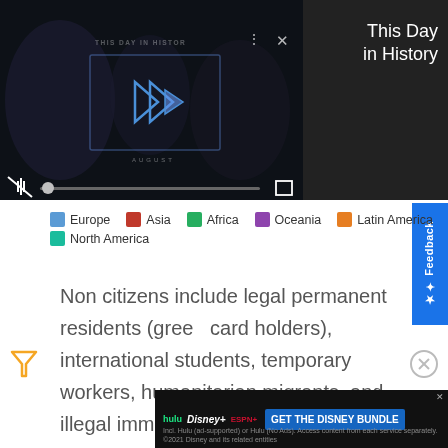[Figure (screenshot): Embedded video player showing 'This Day in History' with play controls, mute icon, progress bar, and fullscreen icon. Dark background with silhouetted figures.]
This Day in History
[Figure (infographic): Map legend with colored squares for regions: Europe (light blue), Asia (red), Africa (green), Oceania (purple), Latin America (orange), North America (teal)]
Non citizens include legal permanent residents (green card holders), international students, temporary workers, humanitarian migrants, and illegal immigrants.
[Figure (screenshot): Advertisement banner for Disney Bundle showing Hulu, Disney+, ESPN+ logos and 'GET THE DISNEY BUNDLE' call to action button]